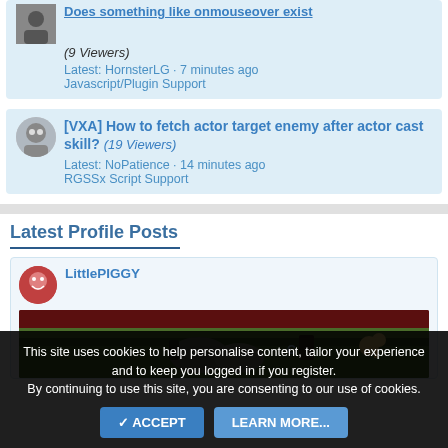(9 Viewers)
Latest: HornsterLG · 7 minutes ago
Javascript/Plugin Support
[VXA] How to fetch actor target enemy after actor cast skill? (19 Viewers)
Latest: NoPatience · 14 minutes ago
RGSSx Script Support
Latest Profile Posts
LittlePIGGY
[Figure (screenshot): Game screenshot showing a top-down RPG scene with game characters/sprites on a dark red and green background]
This site uses cookies to help personalise content, tailor your experience and to keep you logged in if you register.
By continuing to use this site, you are consenting to our use of cookies.
ACCEPT
LEARN MORE...